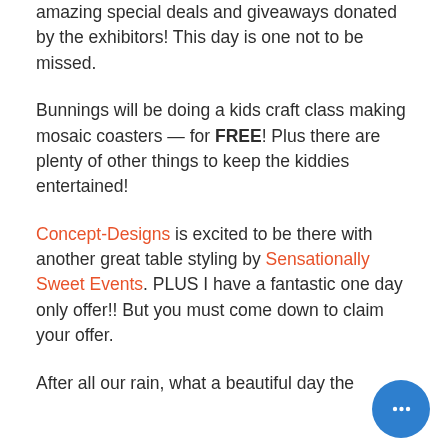amazing special deals and giveaways donated by the exhibitors! This day is one not to be missed.
Bunnings will be doing a kids craft class making mosaic coasters — for FREE! Plus there are plenty of other things to keep the kiddies entertained!
Concept-Designs is excited to be there with another great table styling by Sensationally Sweet Events. PLUS I have a fantastic one day only offer!! But you must come down to claim your offer.
After all our rain, what a beautiful day the